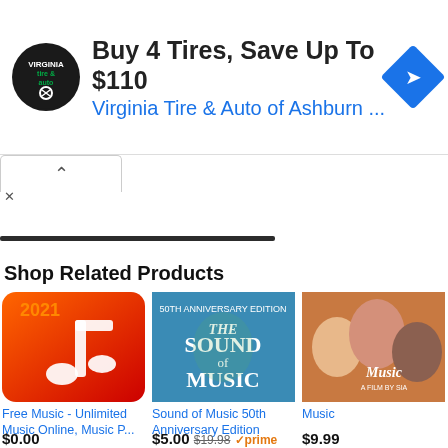[Figure (screenshot): Ad banner for Virginia Tire & Auto with logo, title 'Buy 4 Tires, Save Up To $110', subtitle 'Virginia Tire & Auto of Ashburn ...', and navigation arrow diamond icon]
Shop Related Products
[Figure (screenshot): Product image: 2021 Free Music app icon - orange/red gradient with white music note]
Free Music - Unlimited Music Online, Music P...
$0.00
★★★★☆ (819)
[Figure (screenshot): Product image: The Sound of Music 50th Anniversary Edition DVD cover]
Sound of Music 50th Anniversary Edition
$5.00  $19.98  ✓prime
★★★★★ (25051)
[Figure (screenshot): Product image: Music movie poster - three faces close together]
Music
$9.99
★★★½☆ (1723)